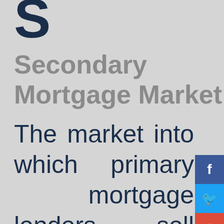S
Secondary Mortgage Market
The market into which primary mortgage lenders sell the mortgages they make to obtain funds to